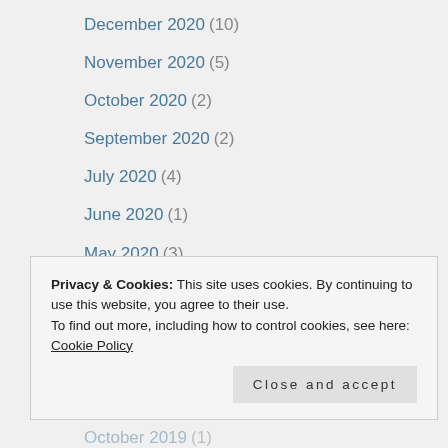December 2020 (10)
November 2020 (5)
October 2020 (2)
September 2020 (2)
July 2020 (4)
June 2020 (1)
May 2020 (3)
April 2020 (2)
March 2020 (2)
February 2020 (1)
October 2019 (1)
Privacy & Cookies: This site uses cookies. By continuing to use this website, you agree to their use.
To find out more, including how to control cookies, see here: Cookie Policy
Close and accept